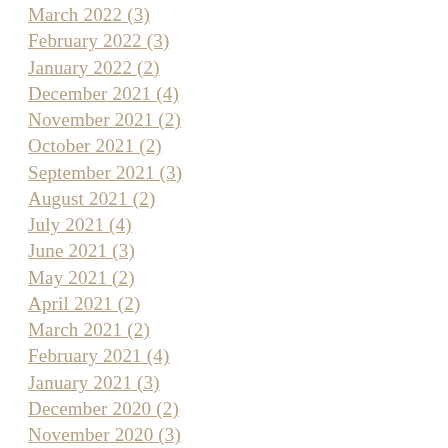March 2022 (3)
February 2022 (3)
January 2022 (2)
December 2021 (4)
November 2021 (2)
October 2021 (2)
September 2021 (3)
August 2021 (2)
July 2021 (4)
June 2021 (3)
May 2021 (2)
April 2021 (2)
March 2021 (2)
February 2021 (4)
January 2021 (3)
December 2020 (2)
November 2020 (3)
October 2020 (2)